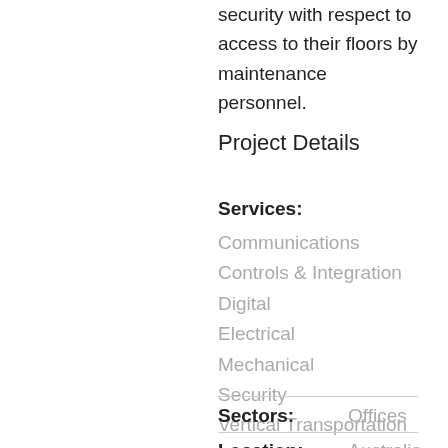security with respect to access to their floors by maintenance personnel.
Project Details
Services: Communications Controls & Integration Digital Electrical Mechanical Security Vertical Transportation
Sectors: Offices
Location: Australia NSW